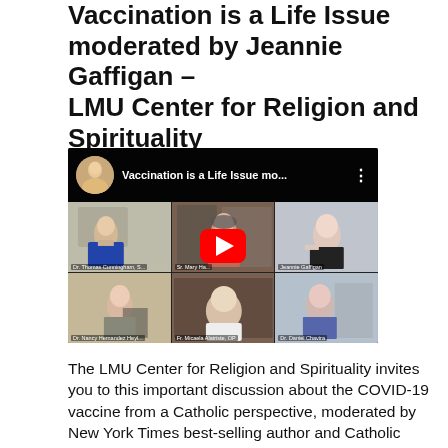Vaccination is a Life Issue moderated by Jeannie Gaffigan – LMU Center for Religion and Spirituality
[Figure (screenshot): YouTube video thumbnail showing a panel discussion titled 'Vaccination is a Life Issue mo...' with six participant video feeds in a grid: Dr. Thomas Cunningham, Sr. Mary Ha..., Jeannie Gaffigan, Dr. Nancy Hernandez Heyl..., Fr. Micaela Alatriste OP, and Dr. Daniel Chavira. A red YouTube play button is overlaid in the center.]
The LMU Center for Religion and Spirituality invites you to this important discussion about the COVID-19 vaccine from a Catholic perspective, moderated by New York Times best-selling author and Catholic speaker